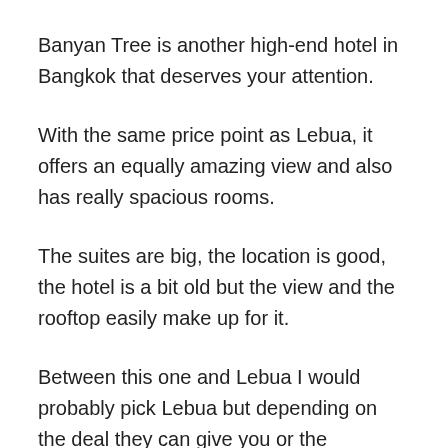Banyan Tree is another high-end hotel in Bangkok that deserves your attention.
With the same price point as Lebua, it offers an equally amazing view and also has really spacious rooms.
The suites are big, the location is good, the hotel is a bit old but the view and the rooftop easily make up for it.
Between this one and Lebua I would probably pick Lebua but depending on the deal they can give you or the availability, it's alternative with similar standards.